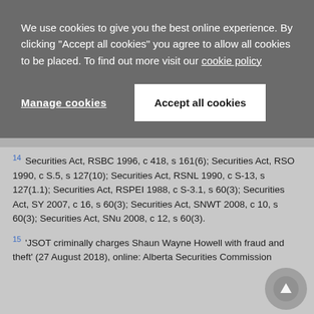We use cookies to give you the best online experience. By clicking "Accept all cookies" you agree to allow all cookies to be placed. To find out more visit our cookie policy
Manage cookies | Accept all cookies
14 Securities Act, RSBC 1996, c 418, s 161(6); Securities Act, RSO 1990, c S.5, s 127(10); Securities Act, RSNL 1990, c S-13, s 127(1.1); Securities Act, RSPEI 1988, c S-3.1, s 60(3); Securities Act, SY 2007, c 16, s 60(3); Securities Act, SNWT 2008, c 10, s 60(3); Securities Act, SNu 2008, c 12, s 60(3).
15 'JSOT criminally charges Shaun Wayne Howell with fraud and theft' (27 August 2018), online: Alberta Securities Commission